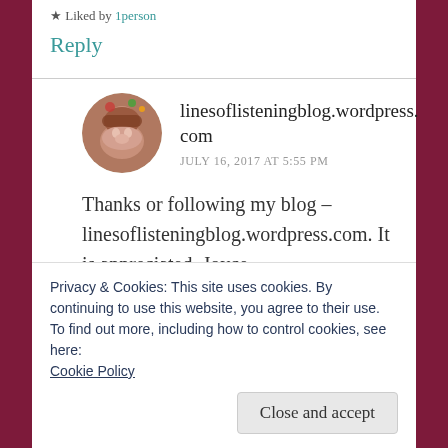Liked by 1person
Reply
linesoflisteningblog.wordpress.com
JULY 16, 2017 AT 5:55 PM
Thanks or following my blog – linesoflisteningblog.wordpress.com. It is appreciated. Joyce
Privacy & Cookies: This site uses cookies. By continuing to use this website, you agree to their use.
To find out more, including how to control cookies, see here: Cookie Policy
Close and accept